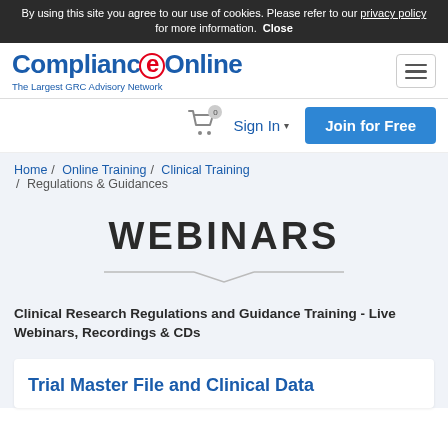By using this site you agree to our use of cookies. Please refer to our privacy policy for more information. Close
[Figure (logo): ComplianceOnline logo with tagline 'The Largest GRC Advisory Network']
Sign In
Join for Free
Home / Online Training / Clinical Training / Regulations & Guidances
WEBINARS
Clinical Research Regulations and Guidance Training - Live Webinars, Recordings & CDs
Trial Master File and Clinical Data